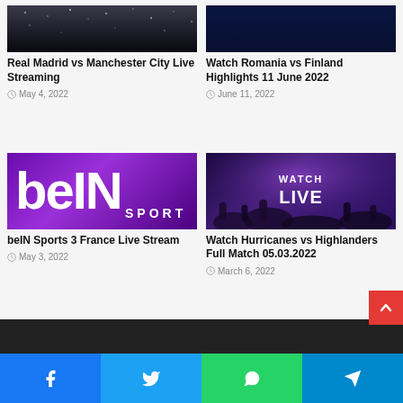[Figure (photo): Real Madrid vs Manchester City article thumbnail - dark stadium image]
Real Madrid vs Manchester City Live Streaming
May 4, 2022
[Figure (photo): Romania vs Finland article thumbnail - dark blue image]
Watch Romania vs Finland Highlights 11 June 2022
June 11, 2022
[Figure (photo): beIN Sports 3 France Live Stream - purple beIN Sport logo]
beIN Sports 3 France Live Stream
May 3, 2022
[Figure (photo): Watch Hurricanes vs Highlanders - purple lit crowd with WATCH LIVE text]
Watch Hurricanes vs Highlanders Full Match 05.03.2022
March 6, 2022
Social share bar: Facebook, Twitter, WhatsApp, Telegram